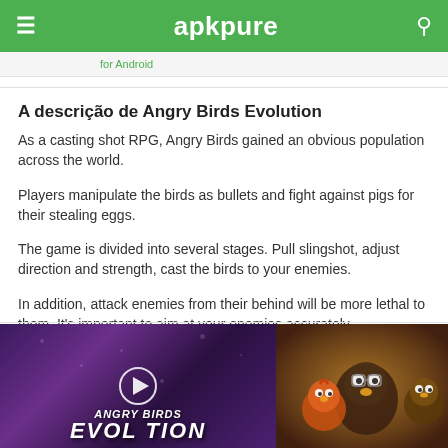apkpure
for Android
A descrição de Angry Birds Evolution
As a casting shot RPG, Angry Birds gained an obvious population across the world.
Players manipulate the birds as bullets and fight against pigs for their stealing eggs.
The game is divided into several stages. Pull slingshot, adjust direction and strength, cast the birds to your enemies.
In addition, attack enemies from their behind will be more lethal to them. It's important to aim at your enemies accurately.
Mostrar mais
[Figure (screenshot): Screenshot of Angry Birds Evolution game showing title screen with play button overlay]
[Figure (screenshot): Screenshot showing Angry Birds Evolution characters - bird characters with glasses and accessories]